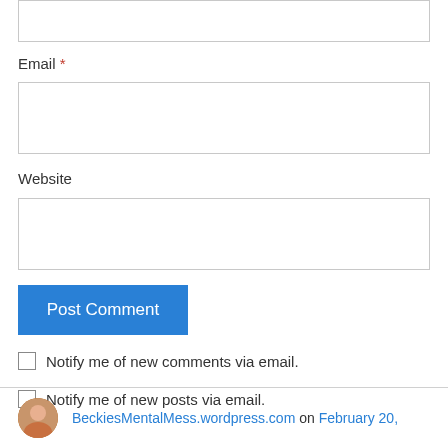Email *
Website
Post Comment
Notify me of new comments via email.
Notify me of new posts via email.
BeckiesMentalMess.wordpress.com on February 20,